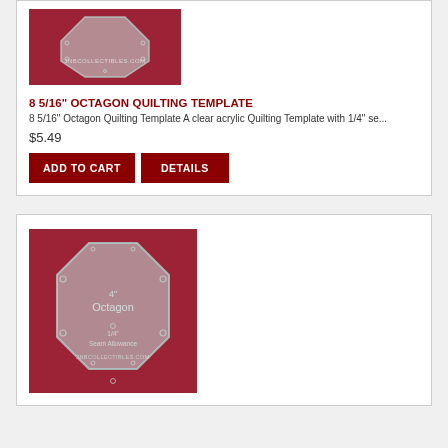[Figure (photo): Photo of a clear acrylic octagon quilting template on red fabric background]
8 5/16" OCTAGON QUILTING TEMPLATE
8 5/16" Octagon Quilting Template A clear acrylic Quilting Template with 1/4" se...
$5.49
[Figure (photo): Photo of a clear acrylic 4" octagon quilting template on red fabric background, showing text: 4" Octagon, Seam Allowance, JNBCOLLECTIBLES.COM]